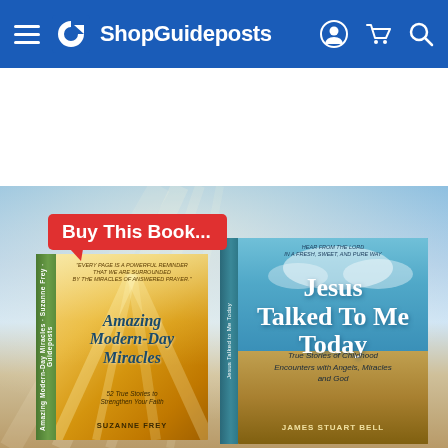ShopGuideposts
[Figure (photo): Book advertisement image showing two books: 'Amazing Modern-Day Miracles' by Suzanne Frey and 'Jesus Talked To Me Today' by James Stuart Bell, with a 'Buy This Book...' red callout banner, set against a sky background.]